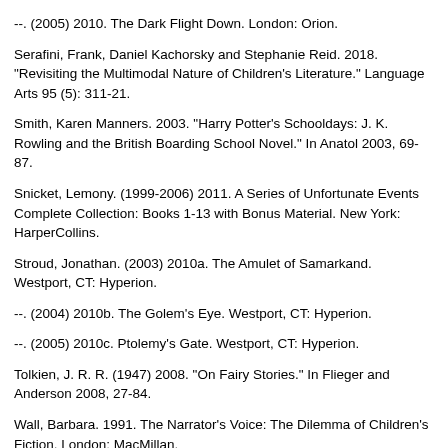--. (2005) 2010. The Dark Flight Down. London: Orion.
Serafini, Frank, Daniel Kachorsky and Stephanie Reid. 2018. "Revisiting the Multimodal Nature of Children's Literature." Language Arts 95 (5): 311-21.
Smith, Karen Manners. 2003. "Harry Potter's Schooldays: J. K. Rowling and the British Boarding School Novel." In Anatol 2003, 69-87.
Snicket, Lemony. (1999-2006) 2011. A Series of Unfortunate Events Complete Collection: Books 1-13 with Bonus Material. New York: HarperCollins.
Stroud, Jonathan. (2003) 2010a. The Amulet of Samarkand. Westport, CT: Hyperion.
--. (2004) 2010b. The Golem's Eye. Westport, CT: Hyperion.
--. (2005) 2010c. Ptolemy's Gate. Westport, CT: Hyperion.
Tolkien, J. R. R. (1947) 2008. "On Fairy Stories." In Flieger and Anderson 2008, 27-84.
Wall, Barbara. 1991. The Narrator's Voice: The Dilemma of Children's Fiction. London: MacMillan.
Waugh, Patricia. 1993. Metafiction: The Theory and Practice of Self-Conscious Fiction. New York and London: Routledge.
Received 14 July 2018...